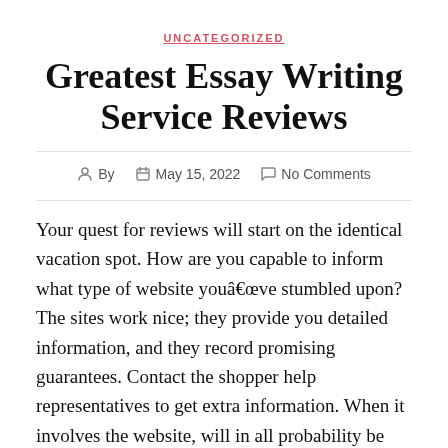UNCATEGORIZED
Greatest Essay Writing Service Reviews
By   May 15, 2022   No Comments
Your quest for reviews will start on the identical vacation spot. How are you capable to inform what type of website youâve stumbled upon? The sites work nice; they provide you detailed information, and they record promising guarantees. Contact the shopper help representatives to get extra information. When it involves the website, will in all probability be straightforward to use. You donât need it to crash in the middle of the ordering course of which is why it must